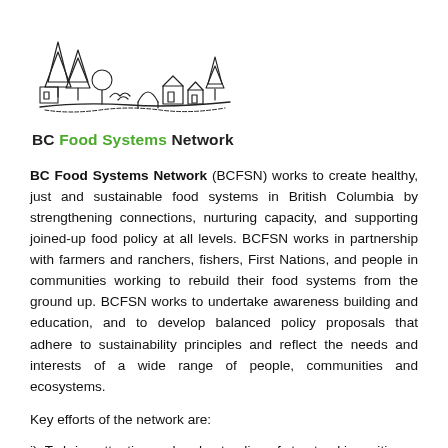[Figure (logo): BC Food Systems Network logo with hand-drawn trees, buildings, and landscape illustration above the text 'BC Food Systems Network']
BC Food Systems Network (BCFSN) works to create healthy, just and sustainable food systems in British Columbia by strengthening connections, nurturing capacity, and supporting joined-up food policy at all levels. BCFSN works in partnership with farmers and ranchers, fishers, First Nations, and people in communities working to rebuild their food systems from the ground up. BCFSN works to undertake awareness building and education, and to develop balanced policy proposals that adhere to sustainability principles and reflect the needs and interests of a wide range of people, communities and ecosystems.
Key efforts of the network are:
i)  To bring attention and understanding of structural inequities